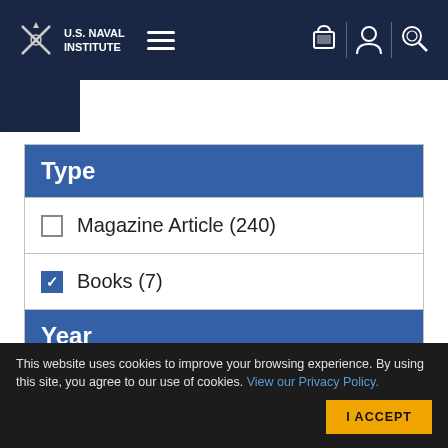U.S. Naval Institute
Type
Magazine Article (240)
Books (7)
Year
- All Time -
This website uses cookies to improve your browsing experience. By using this site, you agree to our use of cookies. View our Privacy Policy.